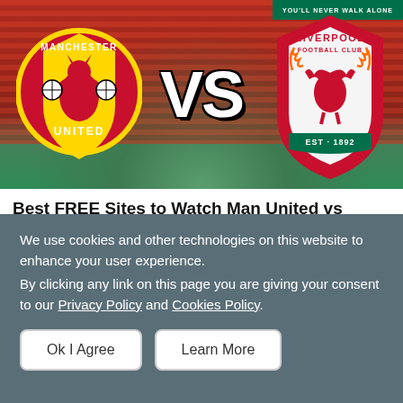[Figure (photo): Manchester United vs Liverpool football match graphic showing both club crests with VS in large text between them, set against a stadium background with red seating.]
Best FREE Sites to Watch Man United vs Liverpool Online Anywhere in the World 🎬
By Jenny Lee | AUGUST 22, 2022 | 06:50
Knowinsiders.com updates the best websites to watch live Man...
We use cookies and other technologies on this website to enhance your user experience. By clicking any link on this page you are giving your consent to our Privacy Policy and Cookies Policy.
Ok I Agree | Learn More